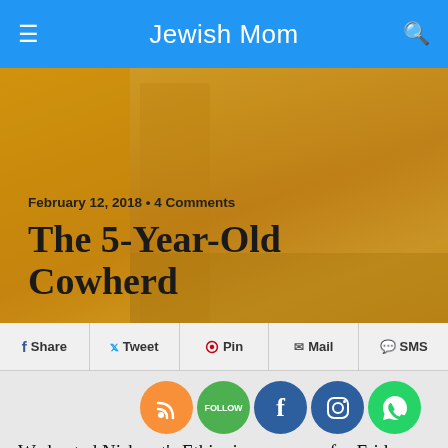Jewish Mom
[Figure (photo): Hero image of a child in an Ethiopian landscape with golden-orange overlay, showing the blog post header area]
February 12, 2018 • 4 Comments
The 5-Year-Old Cowherd
[Figure (infographic): Social share buttons row: Share (Facebook), Tweet (Twitter), Pin (Pinterest), Mail (Email), SMS]
[Figure (infographic): Social media icon circles: RSS (orange), Follow (green), Facebook (dark blue), Instagram (dark blue), WhatsApp (green)]
We hosted Nishmat's Ethiopian program for Friday-night dinner this week. After the meat and rice, we did a round of names, and one of the young women, who seemed unusually mature and poised for a 20-year-old, introduced herself as Tadla. Like all the students, she told us what her name means and a bit about her life story–about her childhood in Ethiopia and her family's aliya to